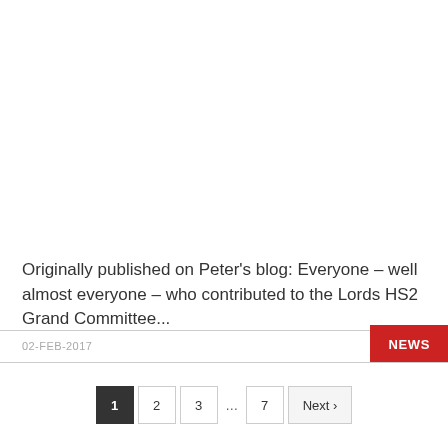Originally published on Peter's blog: Everyone – well almost everyone – who contributed to the Lords HS2 Grand Committee...
02-FEB-2017
NEWS
1 2 3 … 7 Next ›